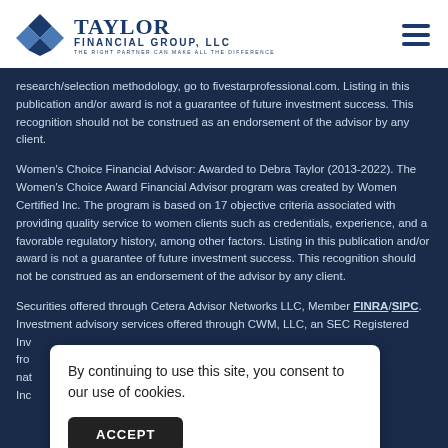Taylor Financial Group, LLC — The Right Partner Can Make All The Difference
research/selection methodology, go to fivestarprofessional.com. Listing in this publication and/or award is not a guarantee of future investment success. This recognition should not be construed as an endorsement of the advisor by any client.
Women's Choice Financial Advisor: Awarded to Debra Taylor (2013-2022). The Women's Choice Award Financial Advisor program was created by Women Certified Inc. The program is based on 17 objective criteria associated with providing quality service to women clients such as credentials, experience, and a favorable regulatory history, among other factors. Listing in this publication and/or award is not a guarantee of future investment success. This recognition should not be construed as an endorsement of the advisor by any client.
Securities offered through Cetera Advisor Networks LLC, Member FINRA/SIPC. Investment advisory services offered through CWM, LLC, an SEC Registered Investment Adviser. CWM, LLC and Cetera Advisor Networks LLC are under separate ownership from any other named entity. Cetera is under separate ownership from any other named entity.
By continuing to use this site, you consent to our use of cookies.
ACCEPT